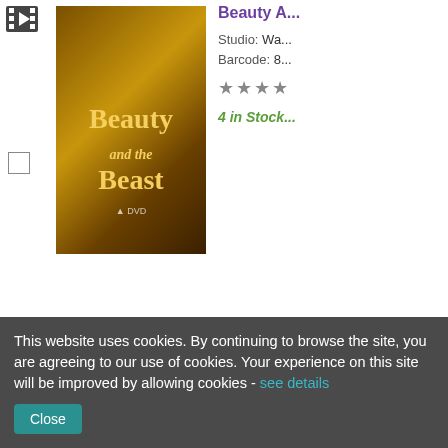[Figure (screenshot): DVD listing row for 'Beauty and the Beast' showing film icon, checkbox, DVD cover image, studio info, barcode, star rating (3 stars), and '4 in Stock' label in green italic]
[Figure (screenshot): DVD listing row for 'Zero De...' showing film icon, checkbox, DVD cover image for 'zero', studio info starting with Ax, barcode starting with 5]
This website uses cookies. By continuing to browse the site, you are agreeing to our use of cookies. Your experience on this site will be improved by allowing cookies - see details